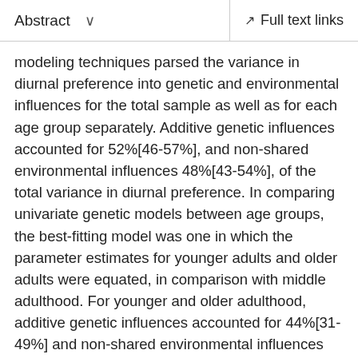Abstract   ∨      Full text links
modeling techniques parsed the variance in diurnal preference into genetic and environmental influences for the total sample as well as for each age group separately. Additive genetic influences accounted for 52%[46-57%], and non-shared environmental influences 48%[43-54%], of the total variance in diurnal preference. In comparing univariate genetic models between age groups, the best-fitting model was one in which the parameter estimates for younger adults and older adults were equated, in comparison with middle adulthood. For younger and older adulthood, additive genetic influences accounted for 44%[31-49%] and non-shared environmental influences 56%[49-64%] of variance in diurnal preference, whereas for middle adulthood these estimates were 34%[21-45%] and 66%[55-79%], respectively. Therefore, genetic influences on diurnal preference are attenuated in middle adulthood.